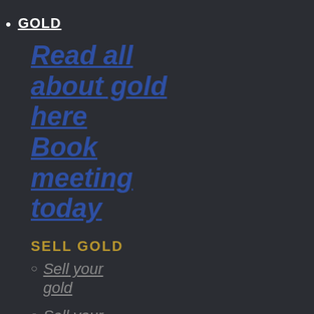GOLD
Read all about gold here
Book meeting today
SELL GOLD
Sell your gold
Sell your gold bars